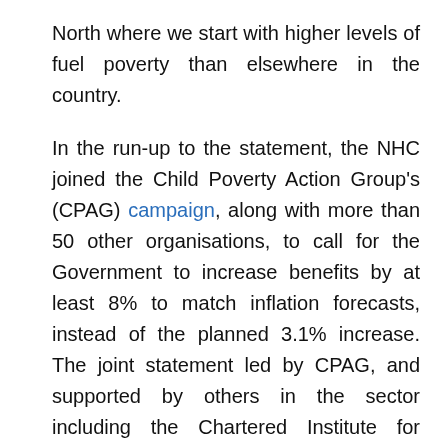North where we start with higher levels of fuel poverty than elsewhere in the country.

In the run-up to the statement, the NHC joined the Child Poverty Action Group's (CPAG) campaign, along with more than 50 other organisations, to call for the Government to increase benefits by at least 8% to match inflation forecasts, instead of the planned 3.1% increase. The joint statement led by CPAG, and supported by others in the sector including the Chartered Institute for Housing, received coverage in the BBC, Guardian and the Mirror.